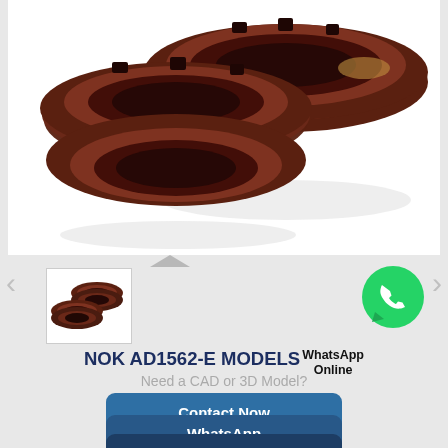[Figure (photo): Two dark brown NOK oil seals/shaft seals on white background, shown at angle to display both the face and side profile.]
[Figure (photo): Thumbnail of two small brown oil seals.]
[Figure (illustration): WhatsApp green phone bubble icon with text WhatsApp Online]
NOK AD1562-E MODELS
WhatsApp Online
Need a CAD or 3D Model?
Contact Now
WhatsApp
Be Our Agent